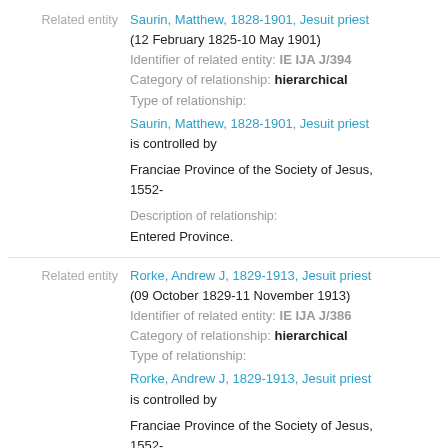Related entity | Saurin, Matthew, 1828-1901, Jesuit priest (12 February 1825-10 May 1901) Identifier of related entity: IE IJA J/394 Category of relationship: hierarchical Type of relationship: Saurin, Matthew, 1828-1901, Jesuit priest is controlled by Franciae Province of the Society of Jesus, 1552- Description of relationship: Entered Province.
Related entity | Rorke, Andrew J, 1829-1913, Jesuit priest (09 October 1829-11 November 1913) Identifier of related entity: IE IJA J/386 Category of relationship: hierarchical Type of relationship: Rorke, Andrew J, 1829-1913, Jesuit priest is controlled by Franciae Province of the Society of Jesus, 1552- Description of relationship: